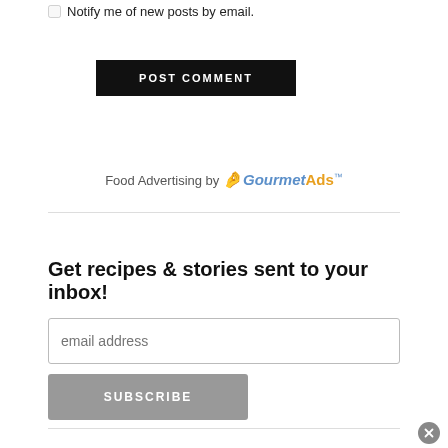Notify me of new posts by email.
POST COMMENT
Food Advertising by GourmetAds
Get recipes & stories sent to your inbox!
email address
SUBSCRIBE